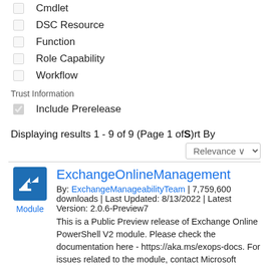Cmdlet
DSC Resource
Function
Role Capability
Workflow
Trust Information
Include Prerelease
Displaying results 1 - 9 of 9 (Page 1 of S)rt By
Relevance
[Figure (logo): PowerShell blue arrow icon]
ExchangeOnlineManagement
By: ExchangeManageabilityTeam | 7,759,600 downloads | Last Updated: 8/13/2022 | Latest Version: 2.0.6-Preview7
This is a Public Preview release of Exchange Online PowerShell V2 module. Please check the documentation here - https://aka.ms/exops-docs. For issues related to the module, contact Microsoft support.